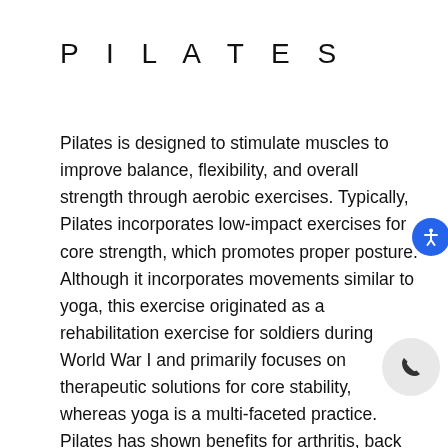PILATES
Pilates is designed to stimulate muscles to improve balance, flexibility, and overall strength through aerobic exercises. Typically, Pilates incorporates low-impact exercises for core strength, which promotes proper posture. Although it incorporates movements similar to yoga, this exercise originated as a rehabilitation exercise for soldiers during World War I and primarily focuses on therapeutic solutions for core stability, whereas yoga is a multi-faceted practice. Pilates has shown benefits for arthritis, back pain, and more. Local studios such as O2 Aspen, Ritual and Tonic Method all offer live classes on Instagram